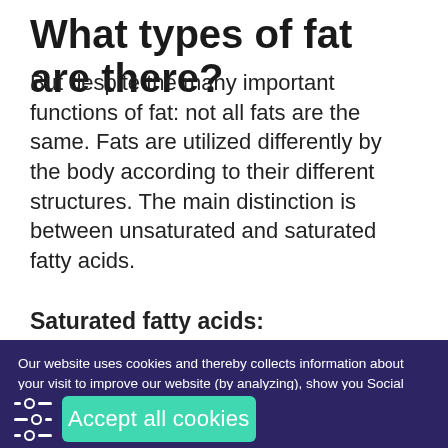What types of fat are there?
But despite the many important functions of fat: not all fats are the same. Fats are utilized differently by the body according to their different structures. The main distinction is between unsaturated and saturated fatty acids.
Saturated fatty acids:
Our website uses cookies and thereby collects information about your visit to improve our website (by analyzing), show you Social Media content and relevant advertisements. Please see our page for furher details or agree by clicking the 'Accept' button.
Accept all cookies